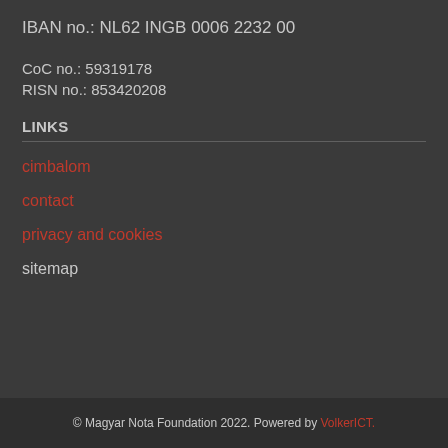IBAN no.: NL62 INGB 0006 2232 00
CoC no.: 59319178
RISN no.: 853420208
LINKS
cimbalom
contact
privacy and cookies
sitemap
© Magyar Nota Foundation 2022. Powered by VolkerICT.